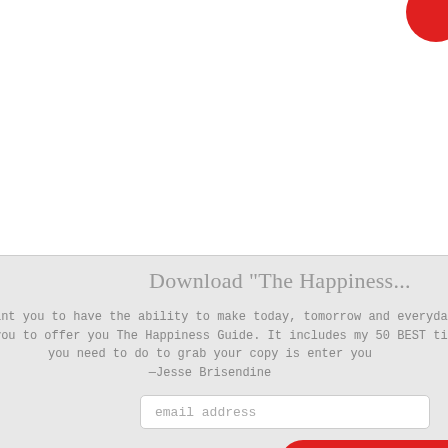Download "The Happiness..."
"I want you to have the ability to make today, tomorrow and everyday like you to offer you The Happiness Guide. It includes my 50 BEST tips you need to do to grab your copy is enter you —Jesse Brisendine
email address
Subscribe
© 2014 Ouch My Heart Is Broken